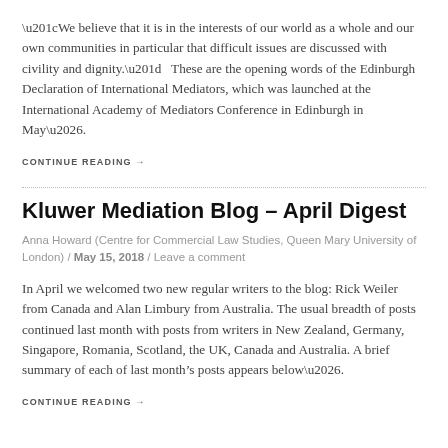“We believe that it is in the interests of our world as a whole and our own communities in particular that difficult issues are discussed with civility and dignity.”   These are the opening words of the Edinburgh Declaration of International Mediators, which was launched at the International Academy of Mediators Conference in Edinburgh in May….
CONTINUE READING →
Kluwer Mediation Blog – April Digest
Anna Howard (Centre for Commercial Law Studies, Queen Mary University of London) / May 15, 2018  / Leave a comment
In April we welcomed two new regular writers to the blog: Rick Weiler from Canada and Alan Limbury from Australia. The usual breadth of posts continued last month with posts from writers in New Zealand, Germany, Singapore, Romania, Scotland, the UK, Canada and Australia. A brief summary of each of last month’s posts appears below….
CONTINUE READING →